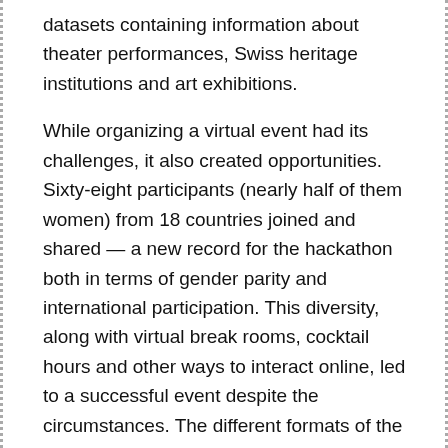datasets containing information about theater performances, Swiss heritage institutions and art exhibitions.
While organizing a virtual event had its challenges, it also created opportunities. Sixty-eight participants (nearly half of them women) from 18 countries joined and shared — a new record for the hackathon both in terms of gender parity and international participation. This diversity, along with virtual break rooms, cocktail hours and other ways to interact online, led to a successful event despite the circumstances. The different formats of the side events enabled the sharing of knowledge, the exchange of experiences and the identification of common goals and challenges, as well as the initiation of future collaborations. With 15 projects [external link], a successful pre-event in Bern and a rich